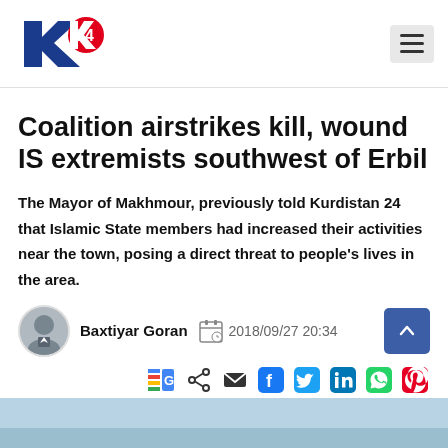Kurdistan 24 (K24) – navigation header with logo and menu button
Coalition airstrikes kill, wound IS extremists southwest of Erbil
The Mayor of Makhmour, previously told Kurdistan 24 that Islamic State members had increased their activities near the town, posing a direct threat to people's lives in the area.
Baxtiyar Goran  2018/09/27 20:34
[Figure (photo): Bottom image strip showing a light blue sky/landscape scene]